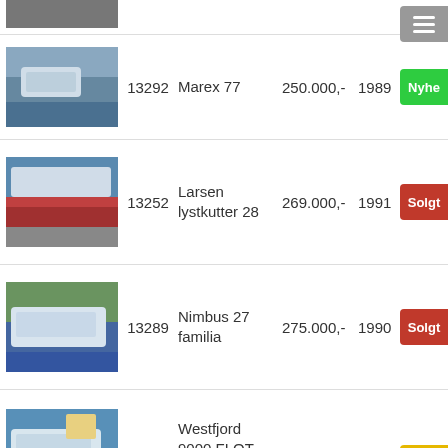[Figure (photo): Partial boat image at top, cropped]
13292 | Marex 77 | 250.000,- | 1989 | Nyhet
13252 | Larsen lystkutter 28 | 269.000,- | 1991 | Solgt
13289 | Nimbus 27 familia | 275.000,- | 1990 | Solgt
13298 | Westfjord 9000 FLOT (Tresfjord 9000) | 334.000,- | 1997 | Nedsatt
[Figure (photo): Partial boat image at bottom, cropped, blue water visible]